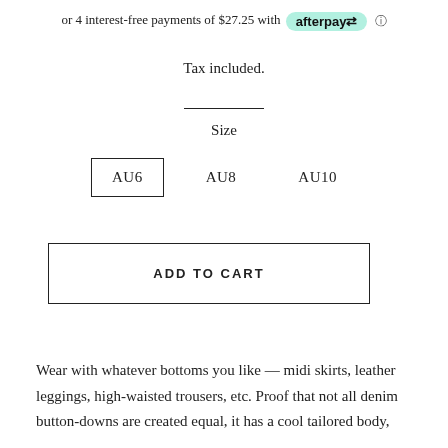or 4 interest-free payments of $27.25 with afterpay ℹ
Tax included.
Size
AU6  AU8  AU10
ADD TO CART
Wear with whatever bottoms you like — midi skirts, leather leggings, high-waisted trousers, etc. Proof that not all denim button-downs are created equal, it has a cool tailored body,